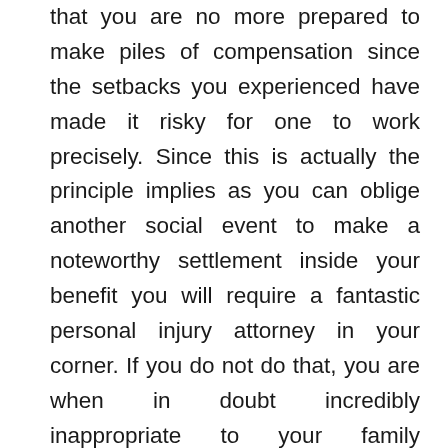that you are no more prepared to make piles of compensation since the setbacks you experienced have made it risky for one to work precisely. Since this is actually the principle implies as you can oblige another social event to make a noteworthy settlement inside your benefit you will require a fantastic personal injury attorney in your corner. If you do not do that, you are when in doubt incredibly inappropriate to your family members who may similarly rely upon your ability to benefit and moreover to yourself. An unfathomable personal injury attorney can empower you to get budgetary compensation for accidents which you have experienced due to others' anxiety. You prepare yourself not to manage your job using the degree of capacity that is required and would not see the significance of the mind boggling personal